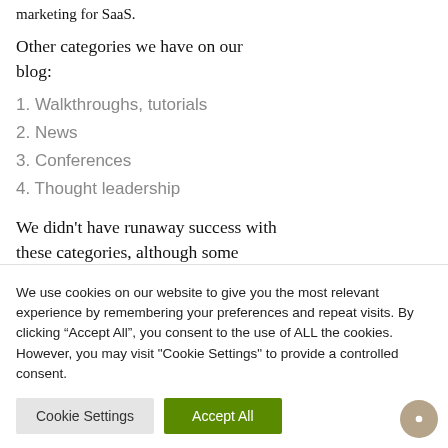marketing for SaaS.
Other categories we have on our blog:
1. Walkthroughs, tutorials
2. News
3. Conferences
4. Thought leadership
We didn't have runaway success with these categories, although some
We use cookies on our website to give you the most relevant experience by remembering your preferences and repeat visits. By clicking “Accept All”, you consent to the use of ALL the cookies. However, you may visit "Cookie Settings" to provide a controlled consent.